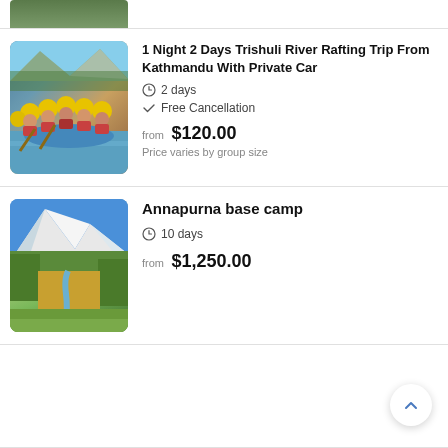[Figure (photo): Partial top of a nature/forest photo, cropped]
[Figure (photo): Group of people white water rafting on Trishuli River, wearing yellow helmets and life jackets]
1 Night 2 Days Trishuli River Rafting Trip From Kathmandu With Private Car
2 days
Free Cancellation
from $120.00
Price varies by group size
[Figure (photo): Scenic mountain valley view of Annapurna base camp area with snow-capped peaks, green forests, and a river path]
Annapurna base camp
10 days
from $1,250.00